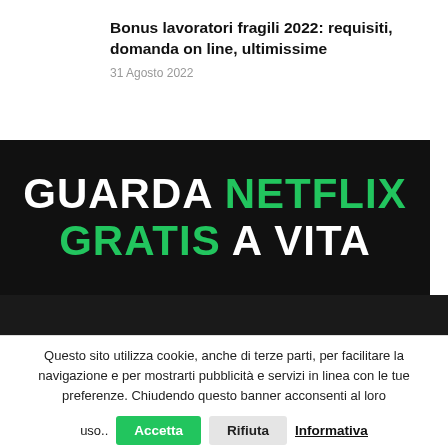Bonus lavoratori fragili 2022: requisiti, domanda on line, ultimissime
31 Agosto 2022
[Figure (illustration): Black banner advertisement: 'GUARDA NETFLIX GRATIS A VITA' with NETFLIX and GRATIS in green, rest in white, on black background]
Questo sito utilizza cookie, anche di terze parti, per facilitare la navigazione e per mostarti pubblicità e servizi in linea con le tue preferenze. Chiudendo questo banner acconsenti al loro uso..
Accetta  Rifiuta  Informativa